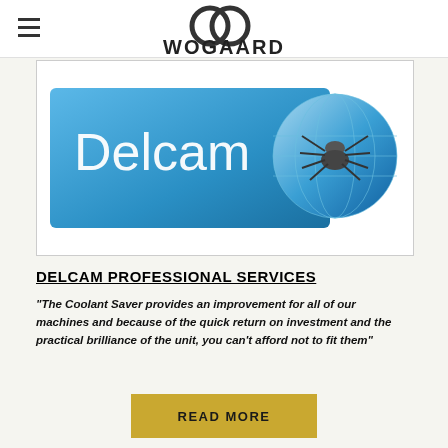WOGAARD
[Figure (logo): Delcam logo — blue rectangular banner with 'Delcam' text in white and a blue globe with a spider graphic on the right side]
DELCAM PROFESSIONAL SERVICES
"The Coolant Saver provides an improvement for all of our machines and because of the quick return on investment and the practical brilliance of the unit, you can't afford not to fit them"
READ MORE